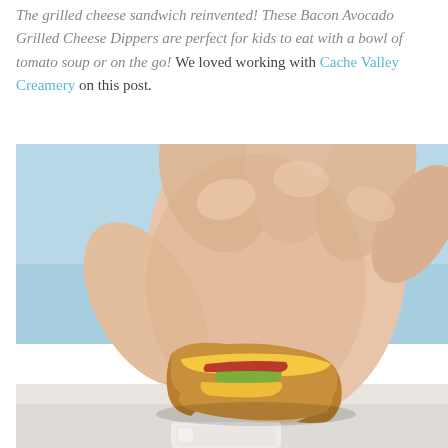The grilled cheese sandwich reinvented! These Bacon Avocado Grilled Cheese Dippers are perfect for kids to eat with a bowl of tomato soup or on the go! We loved working with Cache Valley Creamery on this post.
[Figure (photo): A hand holding a small bacon avocado grilled cheese dipper sandwich, cross-section visible showing melted cheese, bacon, and avocado filling. Blue background, with a white dipping cup partially visible at the bottom.]